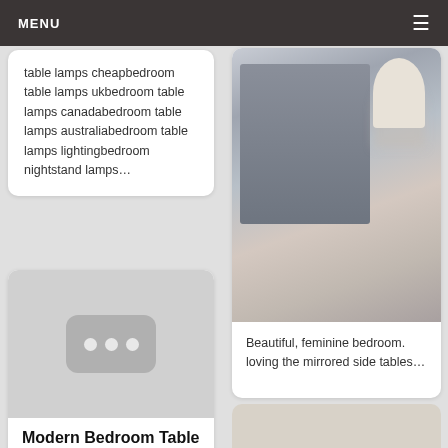MENU
table lamps cheapbedroom table lamps ukbedroom table lamps canadabedroom table lamps australiabedroom table lamps lightingbedroom nightstand lamps…
[Figure (photo): Placeholder image with three dots indicating loading or missing image]
Modern Bedroom Table Lamps | Modern
[Figure (photo): Beautiful feminine bedroom with gray upholstered headboard, blue patterned bedding, mirrored silver side table with lamp and pink roses]
Beautiful, feminine bedroom. loving the mirrored side tables…